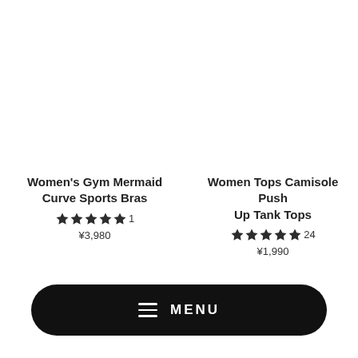Women's Gym Mermaid Curve Sports Bras
★★★★★ 1
¥3,980
Women Tops Camisole Push Up Tank Tops
★★★★★ 24
¥1,990
≡ MENU